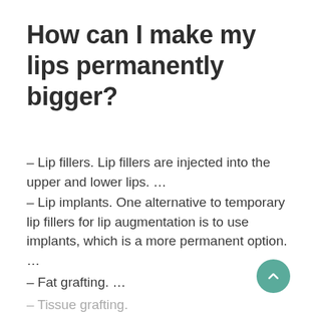How can I make my lips permanently bigger?
– Lip fillers. Lip fillers are injected into the upper and lower lips. …
– Lip implants. One alternative to temporary lip fillers for lip augmentation is to use implants, which is a more permanent option. …
– Fat grafting. …
– Tissue grafting.